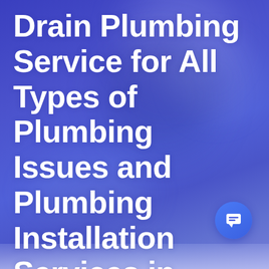Drain Plumbing Service for All Types of Plumbing Issues and Plumbing Installation Services in Philadelphia PA
[Figure (illustration): Chat/message button icon — circular blue button with white chat bubble icon, positioned bottom-right of the page]